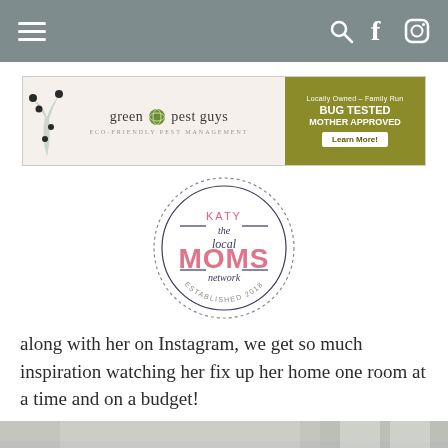Navigation bar with hamburger menu, search, Facebook, and Instagram icons
[Figure (screenshot): Green Pest Guys advertisement banner. Left side: decorative branch with berries, logo text 'green pest guys', tagline 'ECO-FRIENDLY PEST MANAGEMENT'. Right side (olive green): 'Locally Owned – Family Run', 'BUG TESTED MOTHER APPROVED', 'Learn More!' button.]
[Figure (logo): Katy The Local MOMS Network circular badge logo. Pink text 'MOMS', dark text 'KATY', 'the', 'local', 'network'. Outer dotted ring with 'ESTABLISHED 2018' at bottom.]
along with her on Instagram, we get so much inspiration watching her fix up her home one room at a time and on a budget!
[Figure (photo): Partial view of a person, cropped at bottom of page.]